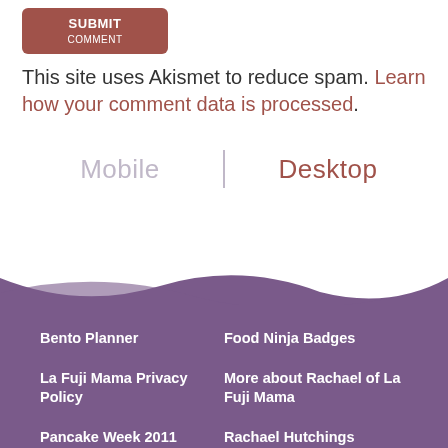[Figure (other): Submit/Post Comment button with brownish-red background]
This site uses Akismet to reduce spam. Learn how your comment data is processed.
Mobile | Desktop
Bento Planner
Food Ninja Badges
La Fuji Mama Privacy Policy
More about Rachael of La Fuji Mama
Pancake Week 2011
Rachael Hutchings
Recipes
About